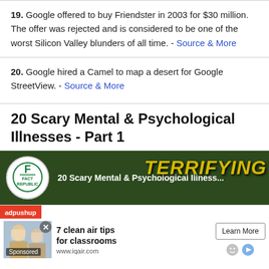19. Google offered to buy Friendster in 2003 for $30 million. The offer was rejected and is considered to be one of the worst Silicon Valley blunders of all time. - Source & More
20. Google hired a Camel to map a desert for Google StreetView. - Source & More
20 Scary Mental & Psychological Illnesses - Part 1
[Figure (screenshot): Video thumbnail for '20 Scary Mental & Psychological Illnesses' from Fact Republic channel, with large 'TERRIFYING' text overlay in yellow]
[Figure (screenshot): adpushup advertisement banner: '7 clean air tips for classrooms' from www.iqair.com with Learn More button, Sponsored label, and people in masks image]